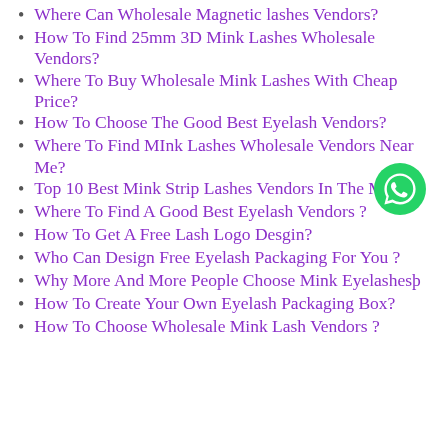Where Can Wholesale Magnetic lashes Vendors?
How To Find 25mm 3D Mink Lashes Wholesale Vendors?
Where To Buy Wholesale Mink Lashes With Cheap Price?
How To Choose The Good Best Eyelash Vendors?
Where To Find MInk Lashes Wholesale Vendors Near Me?
Top 10 Best Mink Strip Lashes Vendors In The Market
Where To Find A Good Best Eyelash Vendors ?
How To Get A Free Lash Logo Desgin?
Who Can Design Free Eyelash Packaging For You ?
Why More And More People Choose Mink Eyelashesþ
How To Create Your Own Eyelash Packaging Box?
How To Choose Wholesale Mink Lash Vendors ?
[Figure (logo): WhatsApp green phone icon]